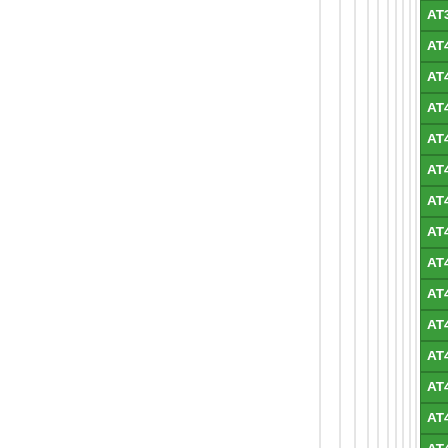| Part (Col A) | Part (Col B) |
| --- | --- |
| AT34C04 [UDFN8-2x3] Note: 4538 | AT45D011 [TS... |
| AT45D021A [SOIC28] Note: 53 | AT45D021A [TS... |
| AT45D041A [SOIC28] Note: 53 | AT45D041A [TS... |
| AT45D081A [TSOP28] Note: 54 | AT45D161 [SO... |
| AT45DB011B [TSSOP14] Note: 1087 | AT45DB021 [S... |
| AT45DB021A [TSOP28] Note: 54 | AT45DB021B [S... |
| AT45DB041 [TSOP28] Note: 54 | AT45DB041A [... |
| AT45DB041A-2.5 [TSOP28] Note: 54 | AT45DB041B [... |
| AT45DB081 [SOIC28] Note: 53 | AT45DB081A [... |
| AT45DB081B [SOIC28] Note: 53 | AT45DB081B [... |
| AT45DB161A [CASON8] Note: 445 | AT45DB161A [... |
| AT45DB161B [SOIC28] Note: 53 | AT45DB161B [... |
| AT45DB321C [CASON8] Note: 445 | AT45DB321C [... |
| AT45DB321D [TSOP28] Note: 54 | AT45DB321D-M... |
| AT49BV001 | AT49BV001 [PL... |
| AT49BV001A [PLCC32] Note: 59 | AT49BV001A [... |
| AT49BV001AN [TSOP32] Note: 165 | AT49BV001AN... |
| AT49BV001ANT [VSOP32] Note: 166 | AT49BV001AT... |
| AT49BV001N | AT49BV001N [... |
| AT49BV001NT | AT49BV001NT... |
| AT49BV001T | AT49BV001T [... |
| AT49BV002 | AT49BV002 [PL... |
| AT49BV002A | AT49BV002A [... |
| AT49BV002AN | AT49BV002AN... |